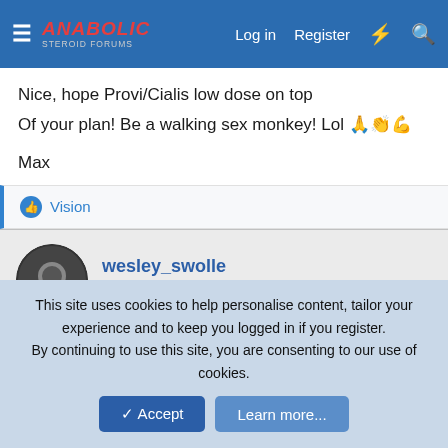Anabolic Steroid Forums — Log in | Register
Nice, hope Provi/Cialis low dose on top
Of your plan! Be a walking sex monkey! Lol 🙏👏💪
Max
👍 Vision
wesley_swolle
Large Member 🏋 Registered Member
Jun 16, 2021  #8
maxmuscle1 said: ↑
This site uses cookies to help personalise content, tailor your experience and to keep you logged in if you register.
By continuing to use this site, you are consenting to our use of cookies.